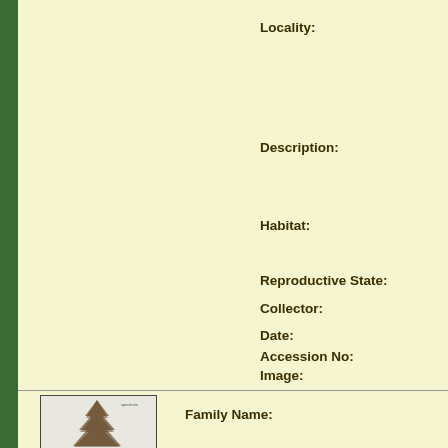Locality:
Description:
Habitat:
Reproductive State:
Collector:
Date:
Accession No:
Image:
Plant Atlas Link:
[Figure (photo): Thumbnail image of a plant specimen, appears to be a conifer or similar tree]
Family Name: